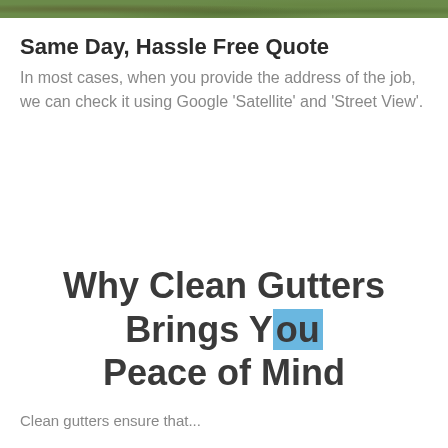[Figure (photo): Aerial or overhead photograph of trees and foliage, appears to be a satellite or drone view of greenery]
Same Day, Hassle Free Quote
In most cases, when you provide the address of the job, we can check it using Google 'Satellite' and 'Street View'.
Why Clean Gutters Brings You Peace of Mind
Clean gutters ensure that...